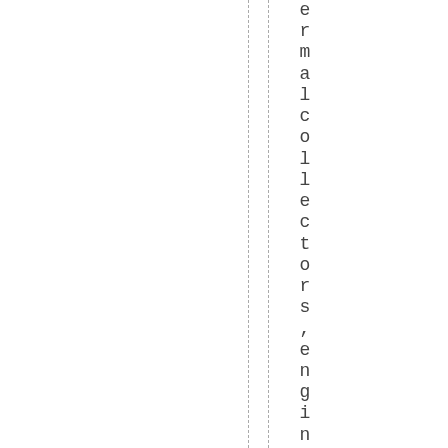ermalcollectors,engineexhausta